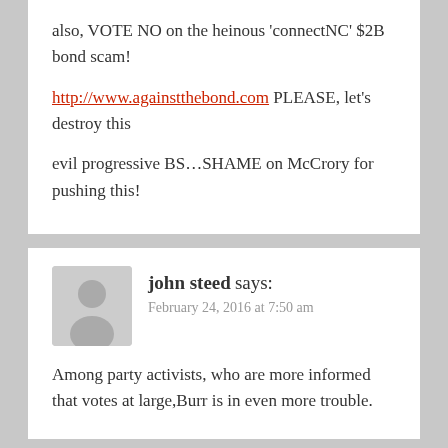also, VOTE NO on the heinous 'connectNC' $2B bond scam!
http://www.againstthebond.com PLEASE, let's destroy this
evil progressive BS…SHAME on McCrory for pushing this!
john steed says: February 24, 2016 at 7:50 am
Among party activists, who are more informed that votes at large,Burr is in even more trouble.